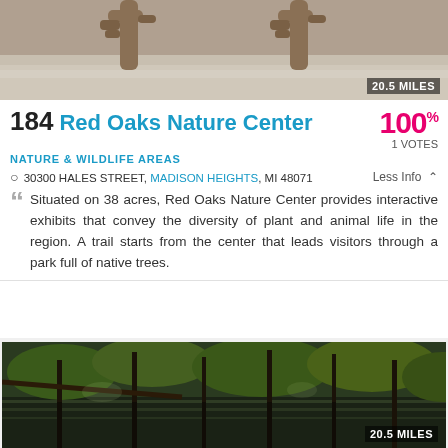[Figure (photo): Close-up photo of deer antlers on a road surface, top portion only visible]
184 Red Oaks Nature Center
100% 1 VOTES
NATURE & WILDLIFE AREAS
30300 HALES STREET, MADISON HEIGHTS, MI 48071 Less Info
Situated on 38 acres, Red Oaks Nature Center provides interactive exhibits that convey the diversity of plant and animal life in the region. A trail starts from the center that leads visitors through a park full of native trees.
[Figure (photo): Photo of a forested wetland with still water reflecting trees and green foliage]